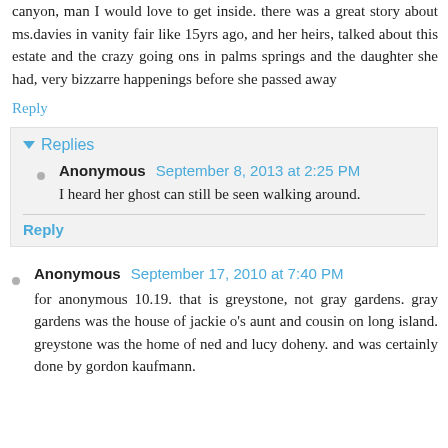canyon, man I would love to get inside. there was a great story about ms.davies in vanity fair like 15yrs ago, and her heirs, talked about this estate and the crazy going ons in palms springs and the daughter she had, very bizzarre happenings before she passed away
Reply
Replies
Anonymous September 8, 2013 at 2:25 PM
I heard her ghost can still be seen walking around.
Reply
Anonymous September 17, 2010 at 7:40 PM
for anonymous 10.19. that is greystone, not gray gardens. gray gardens was the house of jackie o's aunt and cousin on long island. greystone was the home of ned and lucy doheny. and was certainly done by gordon kaufmann.